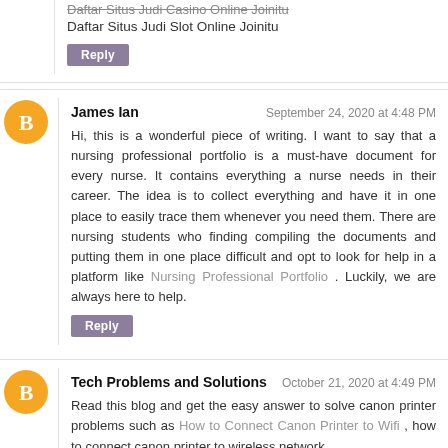Daftar Situs Judi Casino Online Joinitu
Daftar Situs Judi Slot Online Joinitu
Reply
James Ian
September 24, 2020 at 4:48 PM
Hi, this is a wonderful piece of writing. I want to say that a nursing professional portfolio is a must-have document for every nurse. It contains everything a nurse needs in their career. The idea is to collect everything and have it in one place to easily trace them whenever you need them. There are nursing students who finding compiling the documents and putting them in one place difficult and opt to look for help in a platform like Nursing Professional Portfolio . Luckily, we are always here to help.
Reply
Tech Problems and Solutions
October 21, 2020 at 4:49 PM
Read this blog and get the easy answer to solve canon printer problems such as How to Connect Canon Printer to Wifi , how to connect canon printer to wireless network,